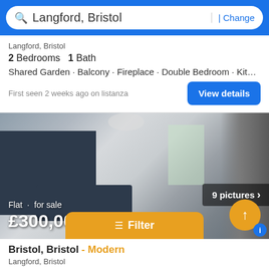Langford, Bristol | Change
Langford, Bristol
2 Bedrooms  1 Bath
Shared Garden · Balcony · Fireplace · Double Bedroom · Kitchen
First seen 2 weeks ago on listanza
[Figure (photo): Interior photo of a modern flat showing dark navy kitchen cabinets, open plan living area with dining table and grey sofa, pendant lighting, and floor-to-ceiling curtains]
9 pictures
Flat · for sale
£300,000
Filter
Bristol, Bristol - Modern
Langford, Bristol